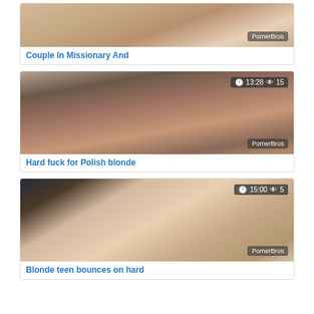[Figure (photo): Video thumbnail showing couple, with PornerBros watermark]
Couple In Missionary And
[Figure (photo): Video thumbnail showing blonde, duration 13:28, views 15, with PornerBros watermark]
Hard fuck for Polish blonde
[Figure (photo): Video thumbnail showing blonde teen, duration 15:00, views 5, with PornerBros watermark]
Blonde teen bounces on hard